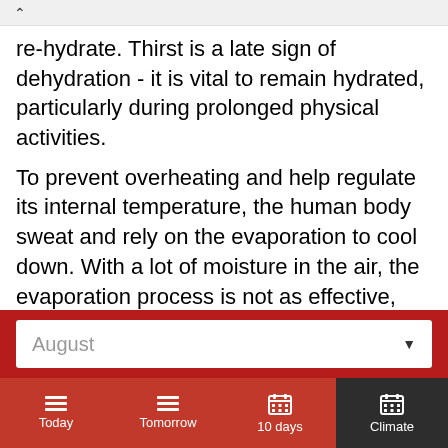re-hydrate. Thirst is a late sign of dehydration - it is vital to remain hydrated, particularly during prolonged physical activities.
To prevent overheating and help regulate its internal temperature, the human body sweat and rely on the evaporation to cool down. With a lot of moisture in the air, the evaporation process is not as effective, and the body does not cool down as efficiently,
August
Today | Tomorrow | 10 days | Climate